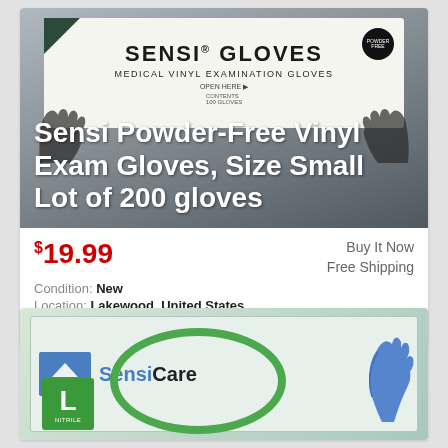[Figure (photo): Product listing card for Sensi Powder-Free Vinyl Exam Gloves. Top portion shows product box image with text 'SENSI GLOVES MEDICAL VINYL EXAMINATION GLOVES' overlaid with white title text 'Sensi Powder-Free Vinyl Exam Gloves, Size Small Lot of 200 gloves'.]
$19.99
Buy It Now
Free Shipping
Condition: New
Location: Lakewood, United States
Sensi Powder-Free Vinyl Exam Gloves, Size Small, Box/100.
[Figure (photo): Bottom portion shows second product listing with SensiCare nitrile gloves box — Medline logo, 'SensiCare' branding, green oval ring graphic, size 'L NITRILE' badge, and blue nitrile gloves.]